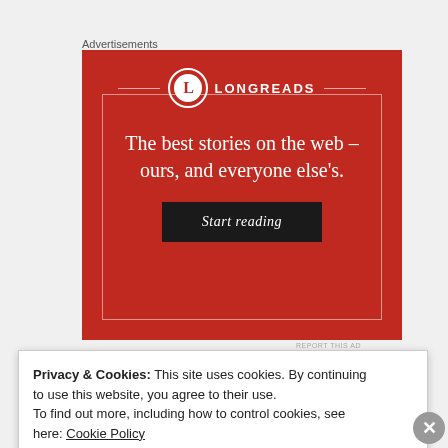Advertisements
[Figure (illustration): Longreads advertisement banner with red background. Shows the Longreads logo (L in a circle) with the text 'The best stories on the web – ours, and everyone else's.' and a dark 'Start reading' button.]
REPORT THIS AD
Privacy & Cookies: This site uses cookies. By continuing to use this website, you agree to their use.
To find out more, including how to control cookies, see here: Cookie Policy
Close and accept